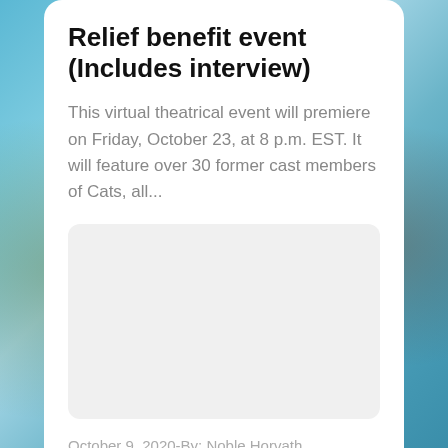Relief benefit event (Includes interview)
This virtual theatrical event will premiere on Friday, October 23, at 8 p.m. EST. It will feature over 30 former cast members of Cats, all...
[Figure (other): Blank white placeholder image area]
October 9, 2020-By: Noble Horvath